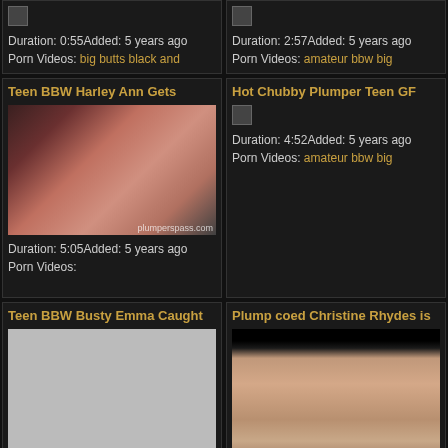[Figure (screenshot): Video thumbnail placeholder top-left with broken image icon]
Duration: 0:55Added: 5 years ago
Porn Videos: big butts black and
[Figure (screenshot): Video thumbnail placeholder top-right with broken image icon]
Duration: 2:57Added: 5 years ago
Porn Videos: amateur bbw big
Teen BBW Harley Ann Gets
[Figure (photo): Photo of a red-haired woman]
Duration: 5:05Added: 5 years ago
Porn Videos:
Hot Chubby Plumper Teen GF
[Figure (screenshot): Broken image icon for Hot Chubby video]
Duration: 4:52Added: 5 years ago
Porn Videos: amateur bbw big
Teen BBW Busty Emma Caught
[Figure (photo): Gray placeholder image for Teen BBW Busty Emma]
Plump coed Christine Rhydes is
[Figure (photo): Photo with black bar on top, intimate scene]
Duration: 3:00Added: 5 years ago